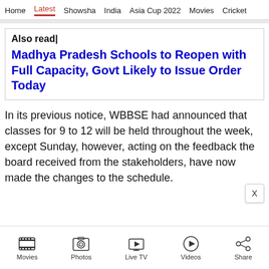Home | Latest | Showsha | India | Asia Cup 2022 | Movies | Cricket
Also read|
Madhya Pradesh Schools to Reopen with Full Capacity, Govt Likely to Issue Order Today
In its previous notice, WBBSE had announced that classes for 9 to 12 will be held throughout the week, except Sunday, however, acting on the feedback the board received from the stakeholders, have now made the changes to the schedule.
Movies | Photos | Live TV | Videos | Share